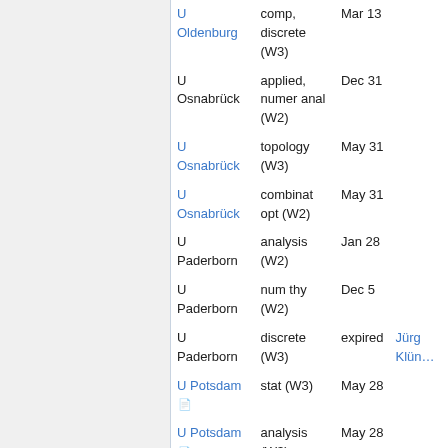| Institution | Field/Level | Deadline | Contact |
| --- | --- | --- | --- |
| U Oldenburg | comp, discrete (W3) | Mar 13 |  |
| U Osnabrück | applied, numer anal (W2) | Dec 31 |  |
| U Osnabrück | topology (W3) | May 31 |  |
| U Osnabrück | combinat opt (W2) | May 31 |  |
| U Paderborn | analysis (W2) | Jan 28 |  |
| U Paderborn | num thy (W2) | Dec 5 |  |
| U Paderborn | discrete (W3) | expired | Jürg Klün… |
| U Potsdam | stat (W3) | May 28 |  |
| U Potsdam | analysis (W3) | May 28 |  |
| U Potsdam | modeling / sys bio (W3) | May 28 |  |
| U Potsdam | PDE (W2) | May 28 |  |
| U Regensburg | geom/topol (W3) | Apr 6 |  |
| U Rostock | alg/geom (W2) | Nov 21 | Chris…, Ralf G…, Frank… |